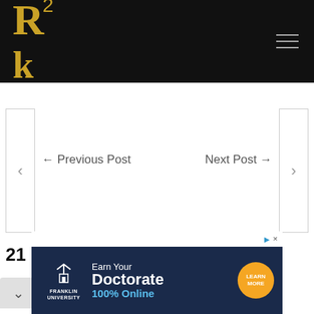[Figure (logo): R2 stylized logo in gold on black header bar with hamburger menu icon on right]
← Previous Post
Next Post →
21 Responses
[Figure (screenshot): Franklin University advertisement banner: Earn Your Doctorate 100% Online with Learn More button]